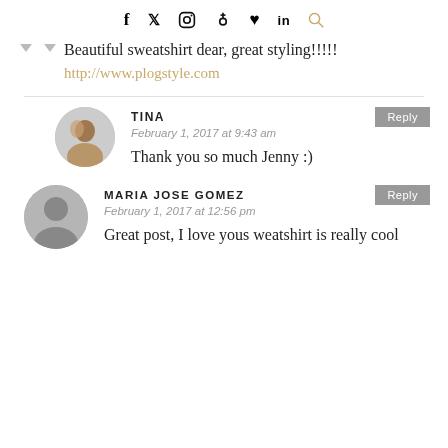f  &#x1F426; [instagram] [pinterest] ♥ in [search]
Beautiful sweatshirt dear, great styling!!!!!
http://www.plogstyle.com
TINA
February 1, 2017 at 9:43 am
Thank you so much Jenny :)
MARIA JOSE GOMEZ
February 1, 2017 at 12:56 pm
Great post, I love yous weatshirt is really cool